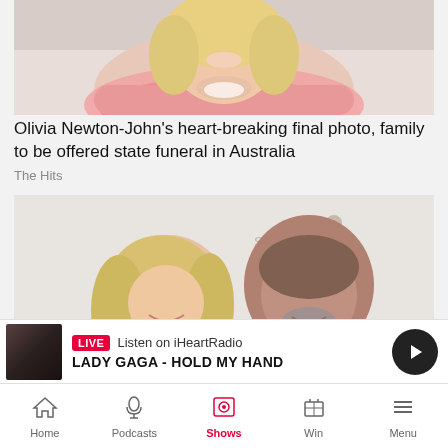[Figure (photo): Close-up photo of a smiling blonde woman in a pink outfit, hands clasped near her face]
Olivia Newton-John's heart-breaking final photo, family to be offered state funeral in Australia
The Hits
[Figure (photo): Photo of a smiling couple at a Steve Harvey Gala event, woman with blonde hair and man with grey beard in suit]
LIVE  Listen on iHeartRadio
LADY GAGA - HOLD MY HAND
Home  Podcasts  Shows  Win  Menu